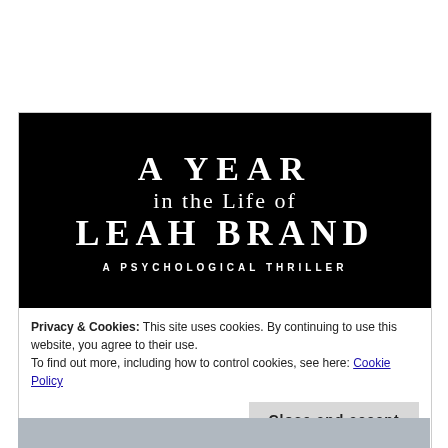[Figure (illustration): Book cover for 'A Year in the Life of Leah Brand: A Psychological Thriller' — white text on black background]
Privacy & Cookies: This site uses cookies. By continuing to use this website, you agree to their use.
To find out more, including how to control cookies, see here: Cookie Policy
Close and accept
[Figure (photo): Partial photo visible at the bottom of the page]